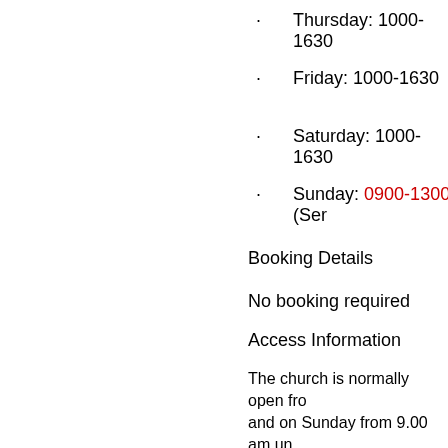Thursday: 1000-1630
Friday: 1000-1630
Saturday: 1000-1630
Sunday: 0900-1300 (Ser
Booking Details
No booking required
Access Information
The church is normally open fro and on Sunday from 9.00 am un main services in progress at 9.30 on the other weekdays which an
Additional information
For updates on this event and m